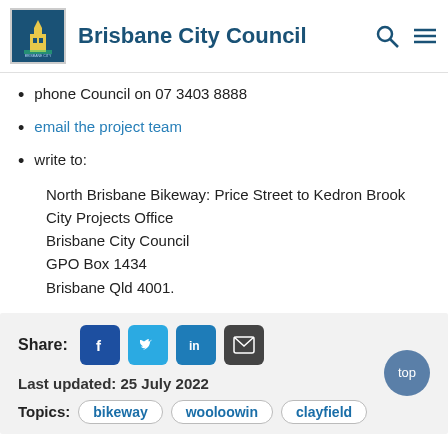Brisbane City Council
phone Council on 07 3403 8888
email the project team
write to:
North Brisbane Bikeway: Price Street to Kedron Brook
City Projects Office
Brisbane City Council
GPO Box 1434
Brisbane Qld 4001.
Share: [Facebook] [Twitter] [LinkedIn] [Email]
Last updated: 25 July 2022
Topics: bikeway  wooloowin  clayfield